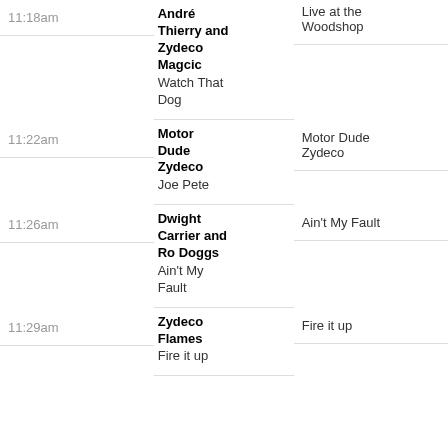| Time | Artist / Song | Album |
| --- | --- | --- |
| 11:18am | Andre Thierry and Zydeco Magcic
Watch That Dog | Live at the Woodshop |
| 11:22am | Motor Dude Zydeco
Joe Pete | Motor Dude Zydeco |
| 11:26am | Dwight Carrier and Ro Doggs
Ain't My Fault | Ain't My Fault |
| 11:29am | Zydeco Flames
Fire it up | Fire it up |